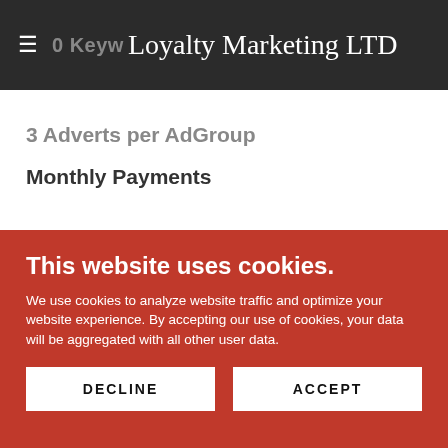Loyalty Marketing LTD
3 Adverts per AdGroup
Monthly Payments
This website uses cookies.
We use cookies to analyze website traffic and optimize your website experience. By accepting our use of cookies, your data will be aggregated with all other user data.
DECLINE
ACCEPT